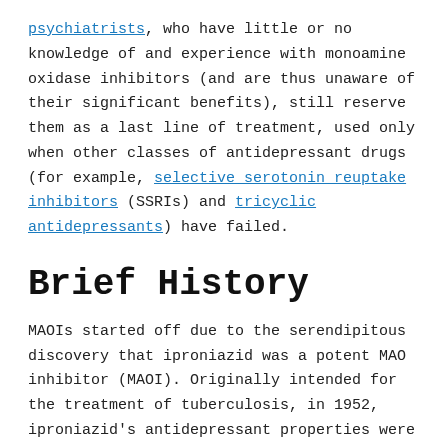psychiatrists, who have little or no knowledge of and experience with monoamine oxidase inhibitors (and are thus unaware of their significant benefits), still reserve them as a last line of treatment, used only when other classes of antidepressant drugs (for example, selective serotonin reuptake inhibitors (SSRIs) and tricyclic antidepressants) have failed.
Brief History
MAOIs started off due to the serendipitous discovery that iproniazid was a potent MAO inhibitor (MAOI). Originally intended for the treatment of tuberculosis, in 1952, iproniazid's antidepressant properties were discovered when researchers noted that the depressed patients given iproniazid